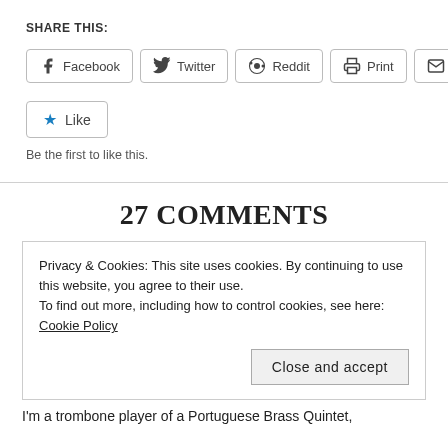SHARE THIS:
[Figure (screenshot): Row of share buttons: Facebook, Twitter, Reddit, Print, Email]
[Figure (screenshot): Like button with blue star icon]
Be the first to like this.
27 COMMENTS
Privacy & Cookies: This site uses cookies. By continuing to use this website, you agree to their use.
To find out more, including how to control cookies, see here: Cookie Policy
Close and accept
I'm a trombone player of a Portuguese Brass Quintet,